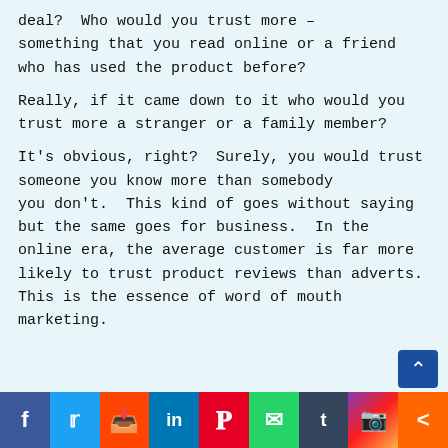deal?  Who would you trust more – something that you read online or a friend who has used the product before?
Really, if it came down to it who would you trust more a stranger or a family member?
It's obvious, right?  Surely, you would trust someone you know more than somebody you don't.  This kind of goes without saying but the same goes for business.  In the online era, the average customer is far more likely to trust product reviews than adverts.  This is the essence of word of mouth marketing.